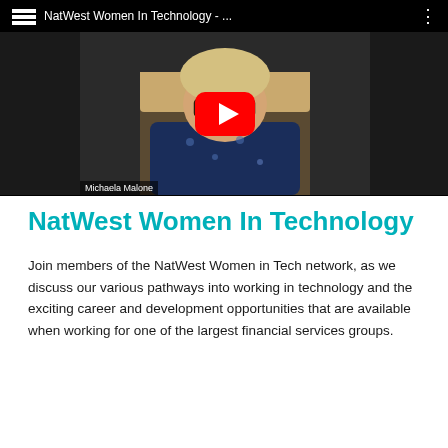[Figure (screenshot): YouTube video thumbnail showing a woman (Michaela Malone) with glasses and blonde hair wearing a dark blue floral top. The video title reads 'NatWest Women In Technology - …' with a large red YouTube play button overlaid in the center. The video player has black bars on the sides and a dark top bar.]
NatWest Women In Technology
Join members of the NatWest Women in Tech network, as we discuss our various pathways into working in technology and the exciting career and development opportunities that are available when working for one of the largest financial services groups.